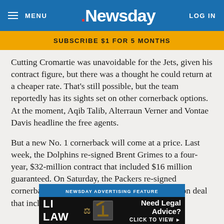MENU | Newsday | LOG IN
SUBSCRIBE $1 FOR 5 MONTHS
Cutting Cromartie was unavoidable for the Jets, given his contract figure, but there was a thought he could return at a cheaper rate. That's still possible, but the team reportedly has its sights set on other cornerback options. At the moment, Aqib Talib, Alterraun Verner and Vontae Davis headline the free agents.
But a new No. 1 cornerback will come at a price. Last week, the Dolphins re-signed Brent Grimes to a four-year, $32-million contract that included $16 million guaranteed. On Saturday, the Packers re-signed cornerback Sam Shields to a four-year, $39-million deal that includes a $12.5-million signin
[Figure (screenshot): Newsday advertising feature banner: LI LAW - Need Legal Advice? Click to view]